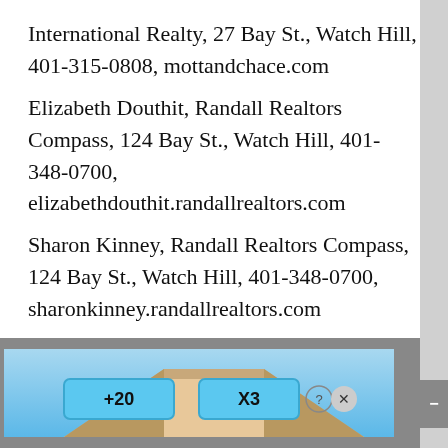International Realty, 27 Bay St., Watch Hill, 401-315-0808, mottandchace.com
Elizabeth Douthit, Randall Realtors Compass, 124 Bay St., Watch Hill, 401-348-0700, elizabethdouthit.randallrealtors.com
Sharon Kinney, Randall Realtors Compass, 124 Bay St., Watch Hill, 401-348-0700, sharonkinney.randallrealtors.com
Robin Knisley, Mott & Chace Sotheby's International Realty, 27 Bay St., Watch Hill, 401-315-0808, mottandchace.com
Donna Simmons, Mott & Chace Sotheby's International Realty, 27 Bay St., Watch Hill, 401-439-0268, mottandchace.com See ad.
Geb Mas... International Realty, 27 Bay St., Watch Hill, 401-